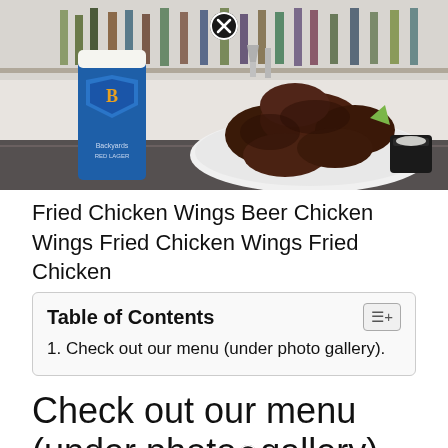[Figure (photo): Photo of fried chicken wings on a white plate with a dipping sauce, next to a blue beer koozie/cup labeled 'Backyard Red Lager', with a bar shelf of liquor bottles in the background. A close/X button icon is visible at the top center of the image.]
Fried Chicken Wings Beer Chicken Wings Fried Chicken Wings Fried Chicken
| Table of Contents |
| --- |
| 1. Check out our menu (under photo gallery). |
Check out our menu (under photo gallery).